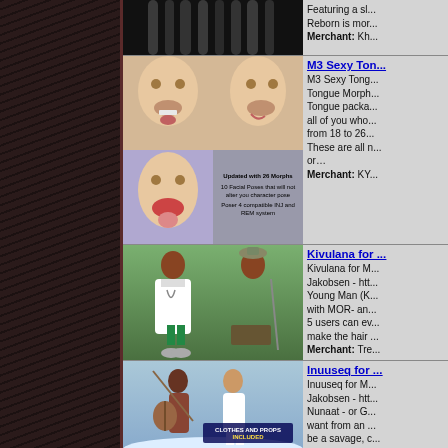[Figure (screenshot): Dark hair strands on black background product thumbnail]
Featuring a sl... Reborn is mor... Merchant: Kh...
[Figure (screenshot): M3 Sexy Tongue morph product images showing male 3D figures with tongue morphs and overlay text: Updated with 26 Morphs, 10 Facial Poses that will not alter you character pose, Poser 4 compatible INJ and REM system]
M3 Sexy Tongue - M3 Sexy Tongue Morph - Tongue Morph package for all of you who liked from 18 to 26 Morphs. These are all n... or… Merchant: KY...
[Figure (screenshot): Kivulana for Michael 3 - two 3D figures, one in white doctor coat with green pants, one in African traditional dress with spear]
Kivulana for M... Jakobsen - htt... Young Man (K... with MOR- an... 5 users can ev... make the hair ... Merchant: Tre...
[Figure (screenshot): Inuuseq for Michael - two 3D figures in action pose with clothes and props included banner]
Inuuseq for M... Jakobsen - htt... Nunaat - or G... want from an ... be a savage, c... you Inuuseq...